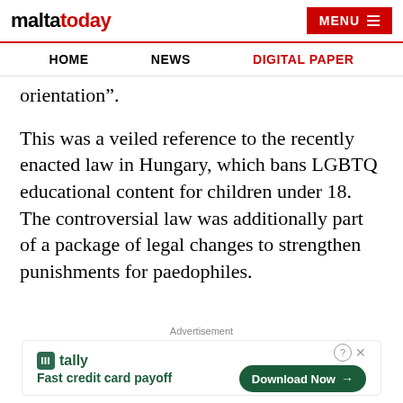maltatoday | HOME | NEWS | DIGITAL PAPER | MENU
orientation”.
This was a veiled reference to the recently enacted law in Hungary, which bans LGBTQ educational content for children under 18. The controversial law was additionally part of a package of legal changes to strengthen punishments for paedophiles.
Advertisement
[Figure (other): Tally app advertisement banner: Fast credit card payoff. Download Now button.]